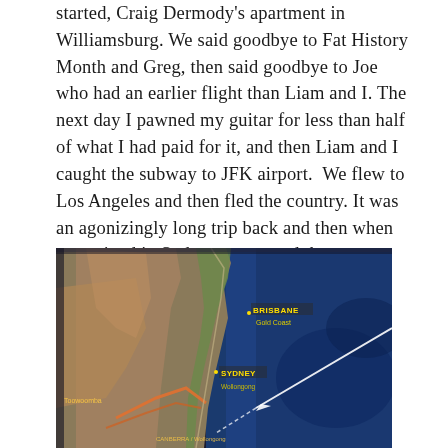started, Craig Dermody's apartment in Williamsburg. We said goodbye to Fat History Month and Greg, then said goodbye to Joe who had an earlier flight than Liam and I. The next day I pawned my guitar for less than half of what I had paid for it, and then Liam and I caught the subway to JFK airport.  We flew to Los Angeles and then fled the country. It was an agonizingly long trip back and then when we arrived in Sydney we started the Australian tour.
[Figure (photo): In-flight entertainment screen showing a map of the east coast of Australia with a flight path line visible, showing cities including Brisbane, Gold Coast, Sydney, and Wollongong. The ocean is shown in blue and the land in satellite imagery tones.]